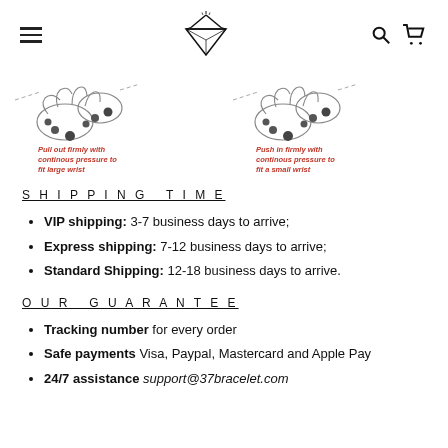37 Bracelet — navigation header with hamburger menu, logo, search and cart icons
[Figure (illustration): Two instructional diagrams showing how to adjust a bracelet. Left: hands pulling out with red italic text 'Pull out firmly with continous pressure to fit large wrist'. Right: hands pushing in with red italic text 'Push in firmly with continous pressure to fit a small wrist'.]
SHIPPING TIME
VIP shipping: 3-7 business days to arrive;
Express shipping: 7-12 business days to arrive;
Standard Shipping: 12-18 business days to arrive.
OUR GUARANTEE
Tracking number for every order
Safe payments Visa, Paypal, Mastercard and Apple Pay
24/7 assistance support@37bracelet.com